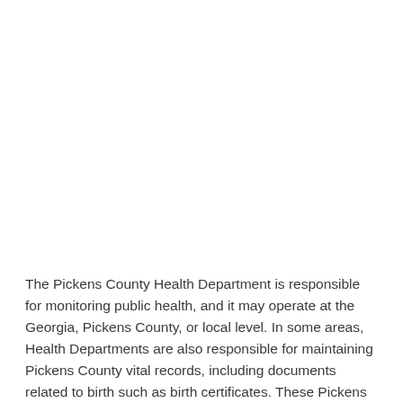The Pickens County Health Department is responsible for monitoring public health, and it may operate at the Georgia, Pickens County, or local level. In some areas, Health Departments are also responsible for maintaining Pickens County vital records, including documents related to birth such as birth certificates. These Pickens